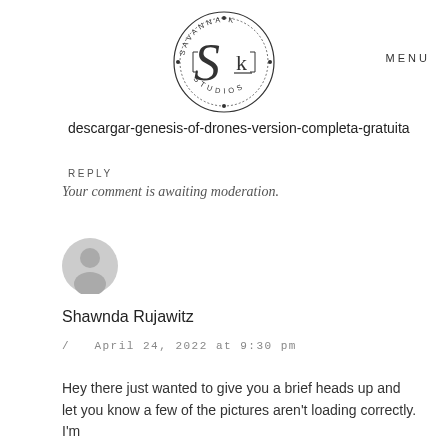[Figure (logo): Savanna K Studios circular logo with stylized SK initials in center]
MENU
descargar-genesis-of-drones-version-completa-gratuita
REPLY
Your comment is awaiting moderation.
[Figure (illustration): Generic grey user avatar icon]
Shawnda Rujawitz
/ April 24, 2022 at 9:30 pm
Hey there just wanted to give you a brief heads up and let you know a few of the pictures aren't loading correctly. I'm